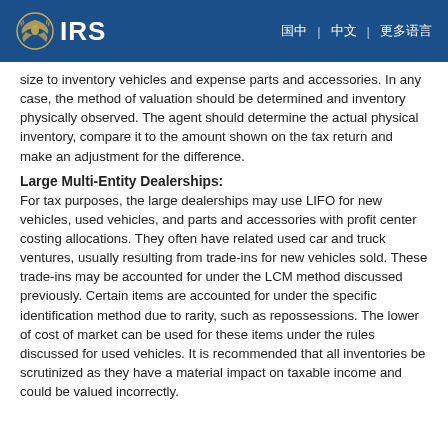IRS
size to inventory vehicles and expense parts and accessories. In any case, the method of valuation should be determined and inventory physically observed. The agent should determine the actual physical inventory, compare it to the amount shown on the tax return and make an adjustment for the difference.
Large Multi-Entity Dealerships:
For tax purposes, the large dealerships may use LIFO for new vehicles, used vehicles, and parts and accessories with profit center costing allocations. They often have related used car and truck ventures, usually resulting from trade-ins for new vehicles sold. These trade-ins may be accounted for under the LCM method discussed previously. Certain items are accounted for under the specific identification method due to rarity, such as repossessions. The lower of cost of market can be used for these items under the rules discussed for used vehicles. It is recommended that all inventories be scrutinized as they have a material impact on taxable income and could be valued incorrectly.